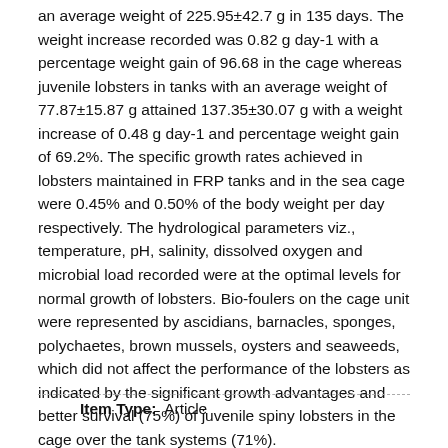an average weight of 225.95±42.7 g in 135 days. The weight increase recorded was 0.82 g day-1 with a percentage weight gain of 96.68 in the cage whereas juvenile lobsters in tanks with an average weight of 77.87±15.87 g attained 137.35±30.07 g with a weight increase of 0.48 g day-1 and percentage weight gain of 69.2%. The specific growth rates achieved in lobsters maintained in FRP tanks and in the sea cage were 0.45% and 0.50% of the body weight per day respectively. The hydrological parameters viz., temperature, pH, salinity, dissolved oxygen and microbial load recorded were at the optimal levels for normal growth of lobsters. Bio-foulers on the cage unit were represented by ascidians, barnacles, sponges, polychaetes, brown mussels, oysters and seaweeds, which did not affect the performance of the lobsters as indicated by the significant growth advantages and better survival (75%) of juvenile spiny lobsters in the cage over the tank systems (71%).
Item Type:  Article